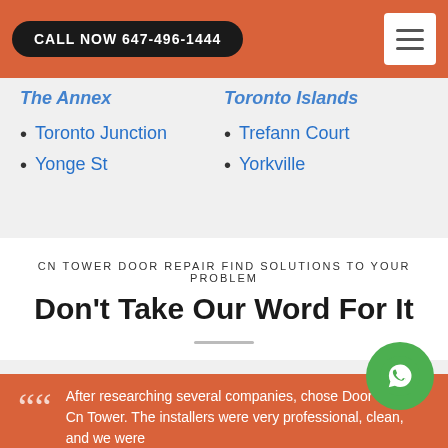CALL NOW 647-496-1444
The Annex
Toronto Islands
Toronto Junction
Trefann Court
Yonge St
Yorkville
CN TOWER DOOR REPAIR FIND SOLUTIONS TO YOUR PROBLEM
Don't Take Our Word For It
After researching several companies, chose Door Repair Cn Tower. The installers were very professional, clean, and we were